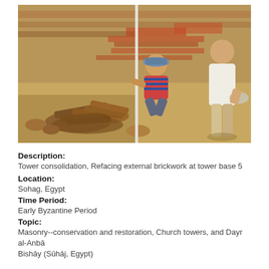[Figure (photo): Two workers at an archaeological/conservation site. One man in a striped shirt and hat crouches working on a brick wall base. Another man in a white shirt stands observing. Rubble and old bricks are piled in the foreground. The background shows a deteriorated mud-brick wall.]
Description:
Tower consolidation, Refacing external brickwork at tower base 5
Location:
Sohag, Egypt
Time Period:
Early Byzantine Period
Topic:
Masonry--conservation and restoration, Church towers, and Dayr al-Anbā Bishāy (Sūhāj, Egypt)